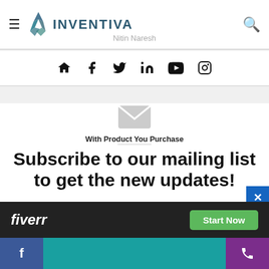INVENTIVA — Nitin Naresh
[Figure (infographic): Social media icons row: home, facebook, twitter, linkedin, youtube, instagram]
[Figure (infographic): Envelope/mail icon (grey)]
With Product You Purchase
Subscribe to our mailing list to get the new updates!
Lorem ipsum dolor sit amet, consectetur.
[Figure (infographic): Fiverr advertisement banner with Start Now button]
Facebook icon | Start Now | Phone icon